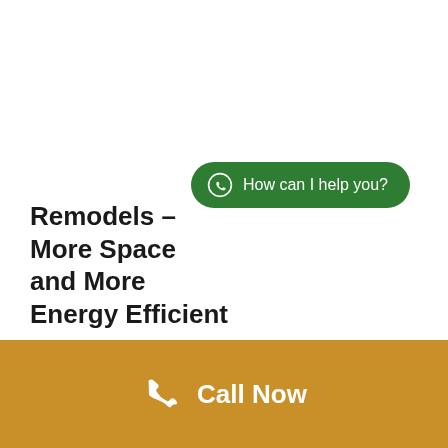Remodels – More Space and More Energy Efficient
[Figure (infographic): Green WhatsApp button with text 'How can I help you?' and WhatsApp logo icon]
[Figure (infographic): Golden/amber footer bar with phone icon and 'Call Now' text in white]